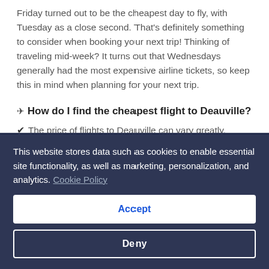Friday turned out to be the cheapest day to fly, with Tuesday as a close second. That's definitely something to consider when booking your next trip! Thinking of traveling mid-week? It turns out that Wednesdays generally had the most expensive airline tickets, so keep this in mind when planning for your next trip.
✈ How do I find the cheapest flight to Deauville?
✔ The price of flights to Deauville can vary greatly, depending on a number of factors. Bagging a cheap flight to Deauville is easier if you have some flexibility with your departure and arrival dates, while your selection of airports and airlines can also impact ticket prices. To find the best deals, try changing your search criteria to accommodate
This website stores data such as cookies to enable essential site functionality, as well as marketing, personalization, and analytics. Cookie Policy
Accept
Deny